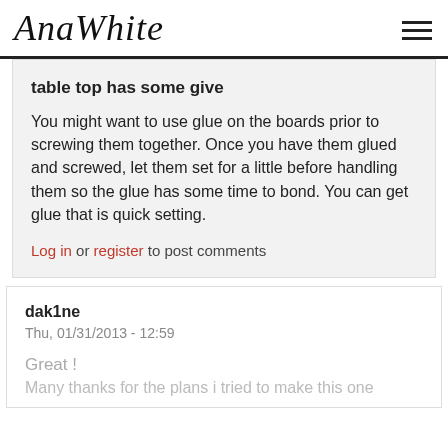AnaWhite
table top has some give
You might want to use glue on the boards prior to screwing them together. Once you have them glued and screwed, let them set for a little before handling them so the glue has some time to bond. You can get glue that is quick setting.
Log in or register to post comments
dak1ne
Thu, 01/31/2013 - 12:59
Great !
Many thanks for the plans i tried to make this one